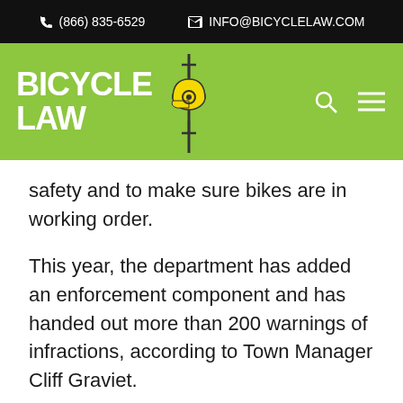(866) 835-6529  INFO@BICYCLELAW.COM
[Figure (logo): Bicycle Law logo with green background, white bold text reading BICYCLE LAW and a bicycle helmet icon]
safety and to make sure bikes are in working order.
This year, the department has added an enforcement component and has handed out more than 200 warnings of infractions, according to Town Manager Cliff Graviet.
“Not everyone realizes that bicyclists are bound by the same motor vehicle